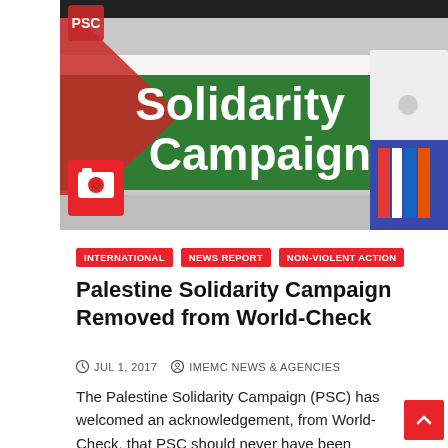[Figure (photo): A Palestine Solidarity Campaign (PSC) green and white flag/banner with 'Solidarity Campaign' text, people visible in background. Red camera icon overlay in bottom-left corner of image.]
INTERNATIONAL
NEWS REPORT
NON-VIOLENT ACTION
Palestine Solidarity Campaign Removed from World-Check
JUL 1, 2017   IMEMC NEWS & AGENCIES
The Palestine Solidarity Campaign (PSC) has welcomed an acknowledgement, from World-Check, that PSC should never have been placed on the